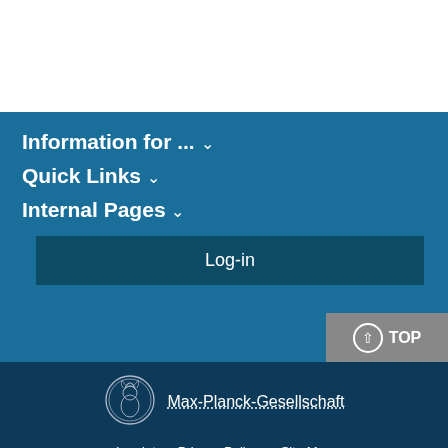Information for ... ∨
Quick Links ∨
Internal Pages ∨
Log-in
[Figure (logo): Max-Planck-Gesellschaft circular coin logo with Minerva bust]
Max-Planck-Gesellschaft
Imprint   Privacy Policy   Site Map
© 2022, Max-Planck-Gesellschaft